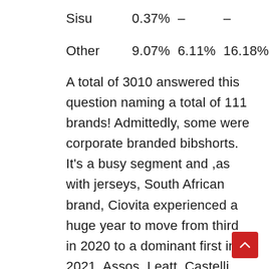| Brand | Col1 | Col2 | Col3 |
| --- | --- | --- | --- |
| Sisu | 0.37% | – | – |
| Other | 9.07% | 6.11% | 16.18% |
A total of 3010 answered this question naming a total of 111 brands! Admittedly, some were corporate branded bibshorts. It's a busy segment and ,as with jerseys, South African brand, Ciovita experienced a huge year to move from third in 2020 to a dominant first in 2021. Assos, Leatt, Castelli and Panda all gained a bit of market share, while a few brands moved from the 'Other'